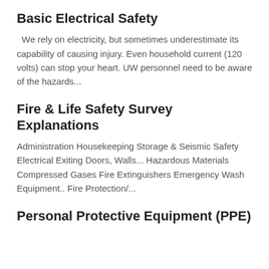Basic Electrical Safety
We rely on electricity, but sometimes underestimate its capability of causing injury. Even household current (120 volts) can stop your heart. UW personnel need to be aware of the hazards...
Fire & Life Safety Survey Explanations
Administration Housekeeping Storage & Seismic Safety Electrical Exiting Doors, Walls... Hazardous Materials Compressed Gases Fire Extinguishers Emergency Wash Equipment.. Fire Protection/...
Personal Protective Equipment (PPE)